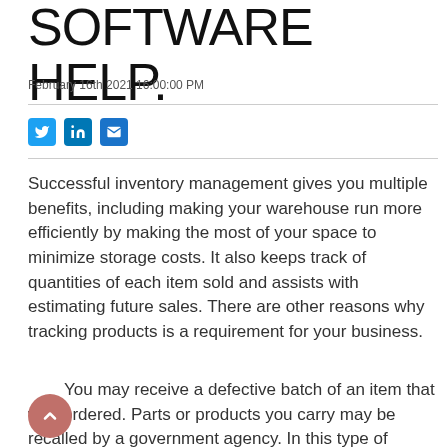SOFTWARE HELP.
February 16th 2021 16:00:00 PM
[Figure (other): Social share icons: Twitter, LinkedIn, Email]
Successful inventory management gives you multiple benefits, including making your warehouse run more efficiently by making the most of your space to minimize storage costs. It also keeps track of quantities of each item sold and assists with estimating future sales. There are other reasons why tracking products is a requirement for your business.
You may receive a defective batch of an item that was ordered. Parts or products you carry may be recalled by a government agency. In this type of